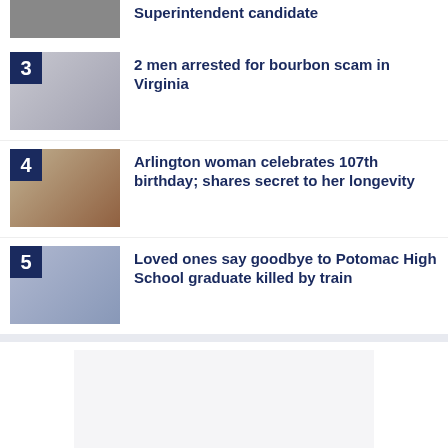[Figure (photo): Partial news item at top - superintendent candidate photo cropped]
3 – 2 men arrested for bourbon scam in Virginia
4 – Arlington woman celebrates 107th birthday; shares secret to her longevity
5 – Loved ones say goodbye to Potomac High School graduate killed by train
[Figure (other): Advertisement placeholder box]